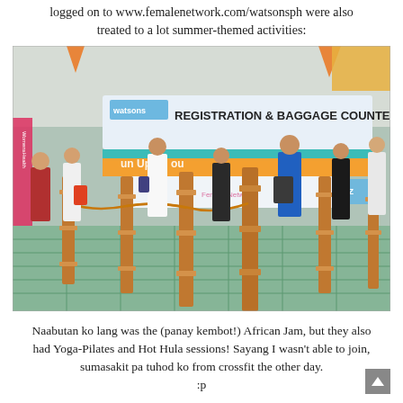logged on to www.femalenetwork.com/watsonsph were also treated to a lot summer-themed activities:
[Figure (photo): Photo of a Watsons Registration & Baggage Counter at an event, with bamboo pole decorations in the foreground and people queuing at a registration table with banners overhead.]
Naabutan ko lang was the (panay kembot!) African Jam, but they also had Yoga-Pilates and Hot Hula sessions! Sayang I wasn't able to join, sumasakit pa tuhod ko from crossfit the other day.
:p